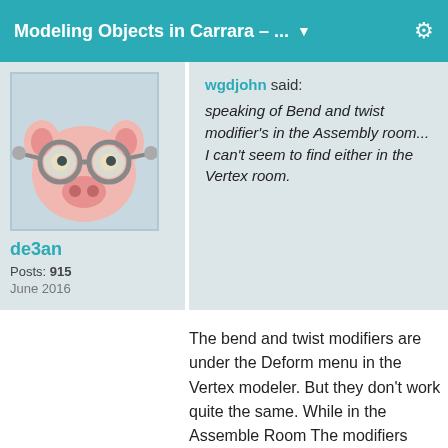Modeling Objects in Carrara - ...
[Figure (photo): 3D cartoon pig avatar wearing goggles]
de3an
Posts: 915
June 2016
wgdjohn said: speaking of Bend and twist modifier's in the Assembly room... I can't seem to find either in the Vertex room.
The bend and twist modifiers are under the Deform menu in the Vertex modeler. But they don't work quite the same. While in the Assemble Room The modifiers give you real time screen updates. In the Vertex Modeler you have to click OK before you will see the